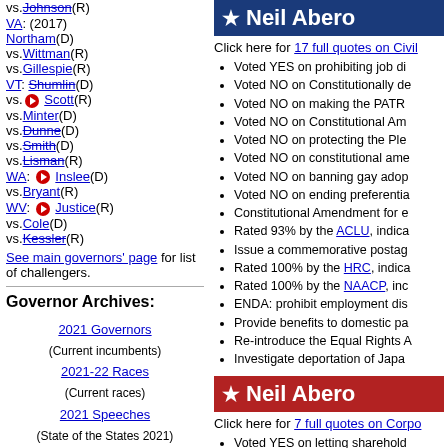vs.Johnson(R)
VA: (2017) Northam(D) vs.Wittman(R) vs.Gillespie(R)
VT: Shumlin(D) vs. Scott(R) vs.Minter(D) vs.Dunne(D) vs.Smith(D) vs.Lisman(R)
WA: Inslee(D) vs.Bryant(R)
WV: Justice(R) vs.Cole(D) vs.Kessler(R)
See main governors' page for list of challengers.
Governor Archives:
2021 Governors (Current incumbents) 2021-22 Races (Current races) 2021 Speeches (State of the States 2021) 2019-20 Debates (Current gubernatorial coverage) 2020 Speeches (State of the States 2020)
[Figure (other): Banner: Neil Abercrombie on blue background with star]
Click here for 17 full quotes on Civil...
Voted YES on prohibiting job di...
Voted NO on Constitutionally de...
Voted NO on making the PATR...
Voted NO on Constitutional Am...
Voted NO on protecting the Ple...
Voted NO on constitutional ame...
Voted NO on banning gay adop...
Voted NO on ending preferentia...
Constitutional Amendment for e...
Rated 93% by the ACLU, indica...
Issue a commemorative postag...
Rated 100% by the HRC, indica...
Rated 100% by the NAACP, inc...
ENDA: prohibit employment dis...
Provide benefits to domestic pa...
Re-introduce the Equal Rights A...
Investigate deportation of Japa...
[Figure (other): Banner: Neil Abercrombie on red background with star]
Click here for 7 full quotes on Corpo...
Voted YES on letting sharehold...
Voted YES on more funding for...
Voted YES on allowing stockhol...
Voted YES on replacing illegal...